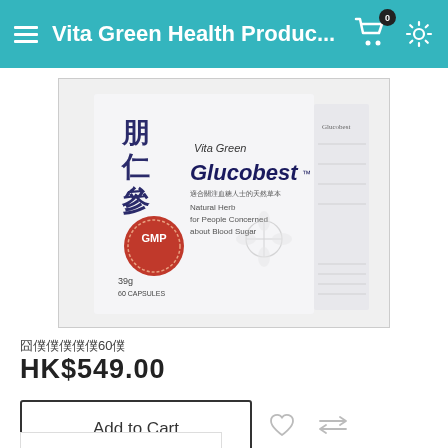Vita Green Health Produc...
[Figure (photo): Product photo of Vita Green Glucobest natural herb supplement, 39g 60 capsules box, showing front and side panels with Chinese characters, GMP seal, and floral illustration]
圍僑僑僑僑僑60僑
HK$549.00
Add to Cart